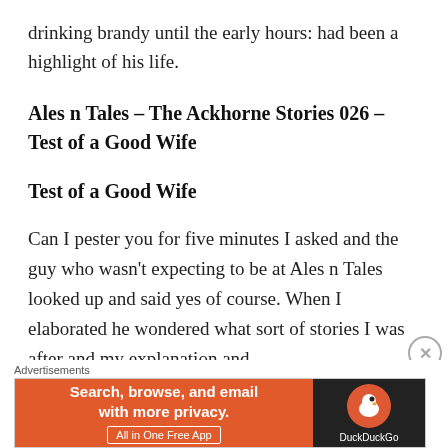drinking brandy until the early hours: had been a highlight of his life.
Ales n Tales – The Ackhorne Stories 026 – Test of a Good Wife
Test of a Good Wife
Can I pester you for five minutes I asked and the guy who wasn't expecting to be at Ales n Tales looked up and said yes of course. When I elaborated he wondered what sort of stories I was after and my explanation and
Advertisements
[Figure (infographic): DuckDuckGo advertisement banner: orange left side with text 'Search, browse, and email with more privacy. All in One Free App' and dark right side with DuckDuckGo duck logo and brand name.]